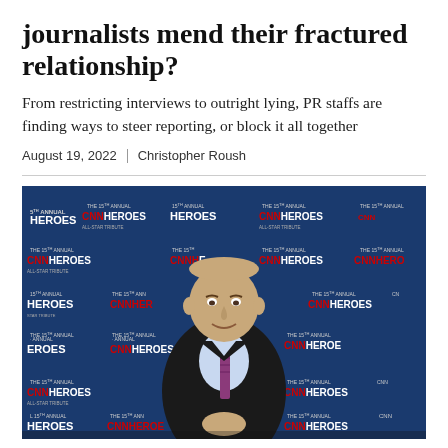journalists mend their fractured relationship?
From restricting interviews to outright lying, PR staffs are finding ways to steer reporting, or block it all together
August 19, 2022 | Christopher Roush
[Figure (photo): Man in dark suit with striped tie standing in front of a CNN Heroes All-Star Tribute event backdrop with blue background and repeated CNN Heroes logos]